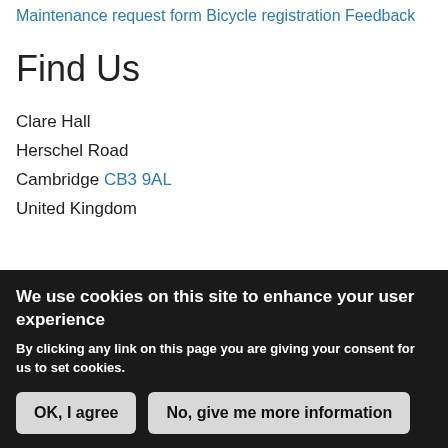Maintenance request form
Bicycle registration
Feedback
Find Us
Clare Hall
Herschel Road
Cambridge CB3 9AL
United Kingdom
We use cookies on this site to enhance your user experience
By clicking any link on this page you are giving your consent for us to set cookies.
OK, I agree | No, give me more information